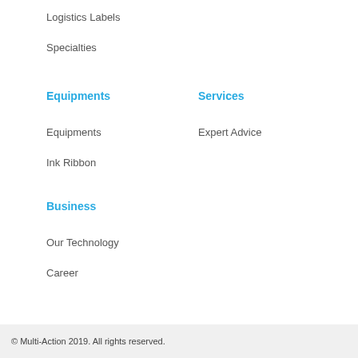Logistics Labels
Specialties
Equipments
Services
Equipments
Expert Advice
Ink Ribbon
Business
Our Technology
Career
© Multi-Action 2019. All rights reserved.